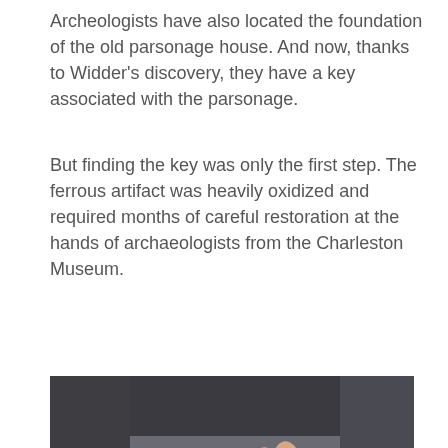Archeologists have also located the foundation of the old parsonage house. And now, thanks to Widder's discovery, they have a key associated with the parsonage.
But finding the key was only the first step. The ferrous artifact was heavily oxidized and required months of careful restoration at the hands of archaeologists from the Charleston Museum.
[Figure (photo): A hand holding a large, old, heavily corroded iron skeleton key. The key has a circular bow on the left and a rectangular bit with notches on the right end.]
Ron Anthony, one of the museum archaeologists who restored the key using electrolysis, has been teaching at the